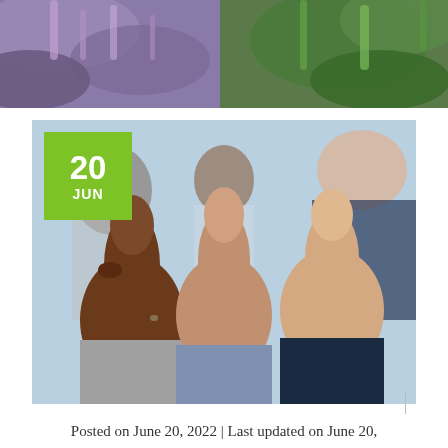[Figure (photo): Top portion of a botanical/plant photo showing purple and green foliage, partially cropped at the top of the page]
[Figure (photo): Three business people giving thumbs up gesture in the foreground, blurred background. A green date badge overlay in the top-left corner shows '20 JUN'.]
Posted on June 20, 2022 | Last updated on June 20,